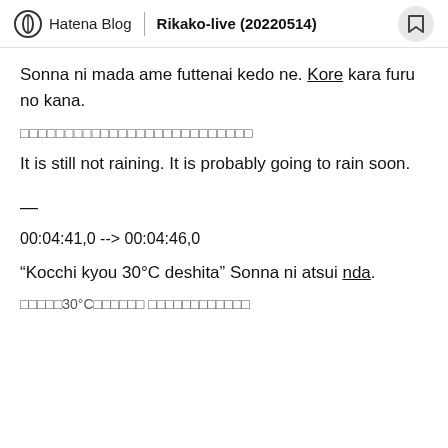Hatena Blog | Rikako-live (20220514)
Sonna ni mada ame futtenai kedo ne. Kore kara furu no kana.
□□□□□□□□□□□□□□□□□□□□□□□□□□
It is still not raining. It is probably going to rain soon.
—
00:04:41,0 --> 00:04:46,0
“Kocchi kyou 30°C deshita” Sonna ni atsui nda.
□□□□□30°C□□□□□□ □□□□□□□□□□□□